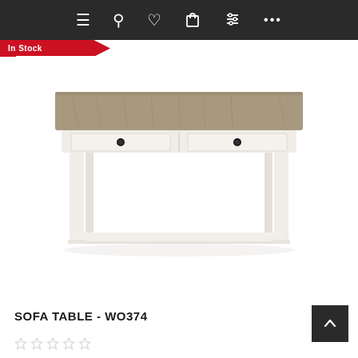Navigation bar with menu, search, wishlist, cart, filter, and more icons
In Stock
[Figure (photo): A farmhouse-style sofa table with a gray wood-grain top and white painted base. The table has two drawers with round black knobs and an open lower shelf. The legs have a simple straight design typical of cottage or rustic furniture.]
SOFA TABLE - WO374
[Figure (other): Star rating icons (empty stars), indicating no reviews yet]
[Figure (other): Scroll-to-top button arrow icon]